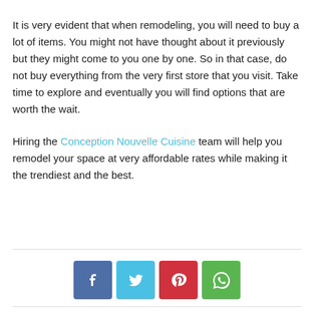It is very evident that when remodeling, you will need to buy a lot of items. You might not have thought about it previously but they might come to you one by one. So in that case, do not buy everything from the very first store that you visit. Take time to explore and eventually you will find options that are worth the wait.
Hiring the Conception Nouvelle Cuisine team will help you remodel your space at very affordable rates while making it the trendiest and the best.
[Figure (infographic): Social share buttons: Facebook (blue), Twitter (cyan), Pinterest (red), WhatsApp (green)]